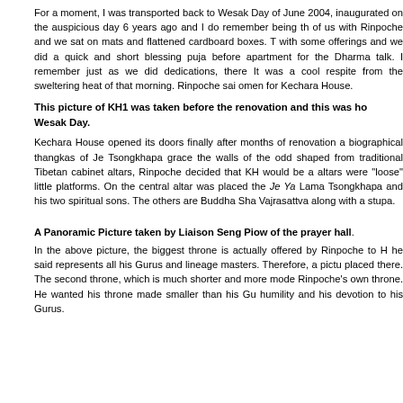For a moment, I was transported back to Wesak Day of June 2004, inaugurated on the auspicious day 6 years ago and I do remember being th of us with Rinpoche and we sat on mats and flattened cardboard boxes. T with some offerings and we did a quick and short blessing puja before apartment for the Dharma talk. I remember just as we did dedications, there It was a cool respite from the sweltering heat of that morning. Rinpoche sai omen for Kechara House.
This picture of KH1 was taken before the renovation and this was ho Wesak Day.
Kechara House opened its doors finally after months of renovation a biographical thangkas of Je Tsongkhapa grace the walls of the odd shaped from traditional Tibetan cabinet altars, Rinpoche decided that KH would be a altars were "loose" little platforms. On the central altar was placed the Je Ya Lama Tsongkhapa and his two spiritual sons. The others are Buddha Sha Vajrasattva along with a stupa.
A Panoramic Picture taken by Liaison Seng Piow of the prayer hall.
In the above picture, the biggest throne is actually offered by Rinpoche to H he said represents all his Gurus and lineage masters. Therefore, a pictu placed there. The second throne, which is much shorter and more mode Rinpoche's own throne. He wanted his throne made smaller than his Gu humility and his devotion to his Gurus.